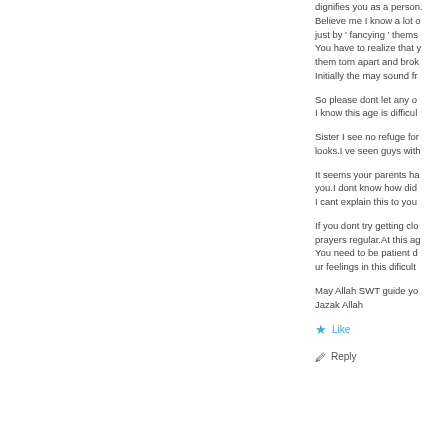dignifies you as a person. Believe me I know a lot of guys who just by ' fancying ' them...You have to realize that you want them torn apart and broken. Initially the may sound fr...
So please dont let any o... I know this age is difficul...
Sister I see no refuge fo... looks.I ve seen guys wit...
It seems your parents ha... you.I dont know how did... I cant explain this to you...
If you dont try getting clo... prayers regular.At this ag... You need to be patient d... ur feelings in this dificult...
May Allah SWT guide yo... Jazak Allah
Like
Reply